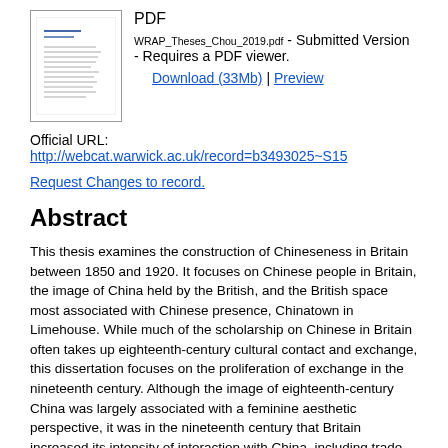[Figure (other): Thumbnail image of a PDF document page showing lines of text]
PDF
WRAP_Theses_Chou_2019.pdf - Submitted Version - Requires a PDF viewer.
Download (33Mb) | Preview
Official URL: http://webcat.warwick.ac.uk/record=b3493025~S15
Request Changes to record.
Abstract
This thesis examines the construction of Chineseness in Britain between 1850 and 1920. It focuses on Chinese people in Britain, the image of China held by the British, and the British space most associated with Chinese presence, Chinatown in Limehouse. While much of the scholarship on Chinese in Britain often takes up eighteenth-century cultural contact and exchange, this dissertation focuses on the proliferation of exchange in the nineteenth century. Although the image of eighteenth-century China was largely associated with a feminine aesthetic perspective, it was in the nineteenth century that Britain increased its intensity of interaction with China, including trade, immigration and cultural exchange transforming British conceptions of Chinese and Chinoiserie. In particular, this thesis considers Limehouse Chinatown and the London Chinese opium dens as